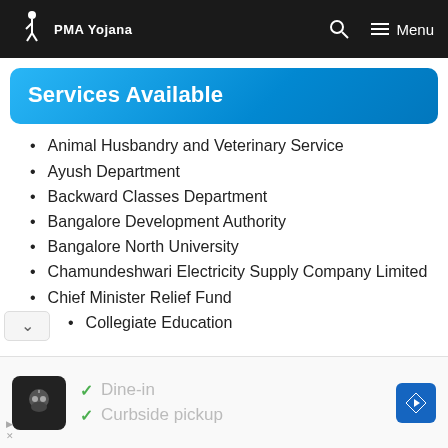PMA Yojana
Services Available
Animal Husbandry and Veterinary Service
Ayush Department
Backward Classes Department
Bangalore Development Authority
Bangalore North University
Chamundeshwari Electricity Supply Company Limited
Chief Minister Relief Fund
Collegiate Education
[Figure (other): Advertisement banner showing a restaurant with Dine-in and Curbside pickup checkmarks]